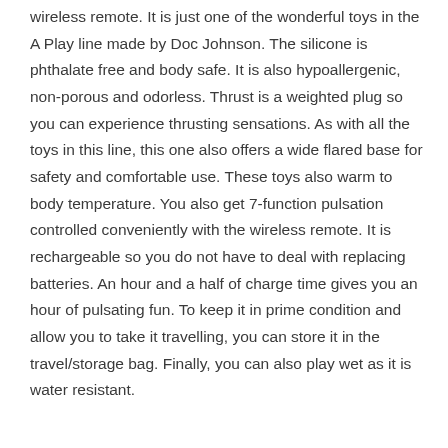wireless remote. It is just one of the wonderful toys in the A Play line made by Doc Johnson. The silicone is phthalate free and body safe. It is also hypoallergenic, non-porous and odorless. Thrust is a weighted plug so you can experience thrusting sensations. As with all the toys in this line, this one also offers a wide flared base for safety and comfortable use. These toys also warm to body temperature. You also get 7-function pulsation controlled conveniently with the wireless remote. It is rechargeable so you do not have to deal with replacing batteries. An hour and a half of charge time gives you an hour of pulsating fun. To keep it in prime condition and allow you to take it travelling, you can store it in the travel/storage bag. Finally, you can also play wet as it is water resistant.